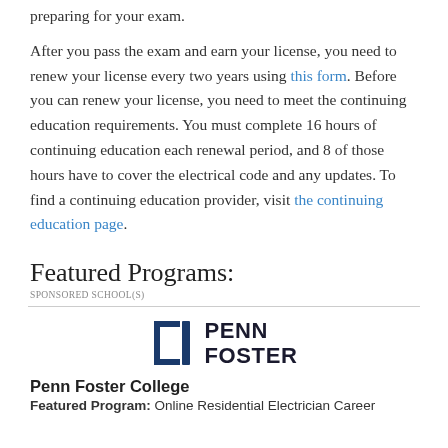preparing for your exam.
After you pass the exam and earn your license, you need to renew your license every two years using this form. Before you can renew your license, you need to meet the continuing education requirements. You must complete 16 hours of continuing education each renewal period, and 8 of those hours have to cover the electrical code and any updates. To find a continuing education provider, visit the continuing education page.
Featured Programs:
SPONSORED SCHOOL(S)
[Figure (logo): Penn Foster logo with stylized blue bracket/shield icon and bold text 'PENN FOSTER']
Penn Foster College
Featured Program: Online Residential Electrician Career...